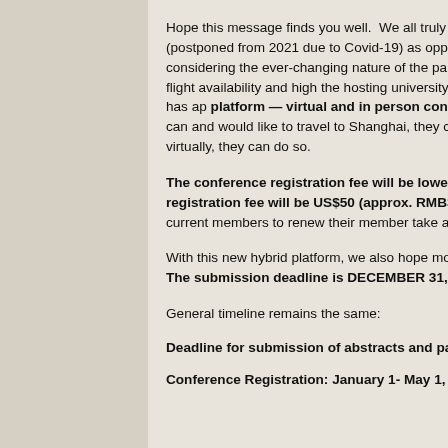Hope this message finds you well.  We all truly look forward to the Sum Conference (postponed from 2021 due to Covid-19) as opportunities to connections.  However, considering the ever-changing nature of the par traveling (visa, pre-boarding test, quarantine, flight availability and high the hosting university (East China Normal University), the board has ap platform — virtual and in person concurrently.  For participants with China who can and would like to travel to Shanghai, they certainly can p who prefer to participate virtually, they can do so.
The conference registration fee will be lowered because of this new conference registration fee will be US$50 (approx. RMB300¥); for IS it will be free.  We encourage current members to renew their member take advantage of this generous offer.
With this new hybrid platform, we also hope more scholars will consider for the conference. The submission deadline is DECEMBER 31, 2021
General timeline remains the same:
Deadline for submission of abstracts and panel proposals: December
Conference Registration: January 1- May 1, 2022